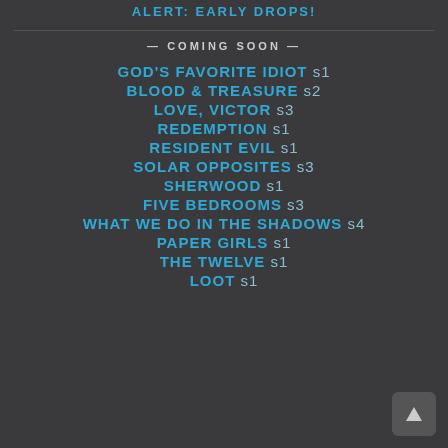ALERT: EARLY DROPS!
— COMING SOON —
GOD'S FAVORITE IDIOT s1
BLOOD & TREASURE s2
LOVE, VICTOR s3
REDEMPTION s1
RESIDENT EVIL s1
SOLAR OPPOSITES s3
SHERWOOD s1
FIVE BEDROOMS s3
WHAT WE DO IN THE SHADOWS s4
PAPER GIRLS s1
THE TWELVE s1
LOOT s1